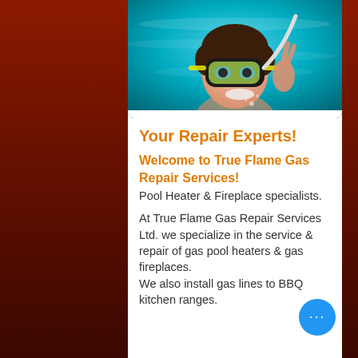[Figure (photo): Underwater photo of a woman wearing a diving mask and snorkel, looking up at the camera with an OK gesture, against a turquoise blue water background.]
Your Repair Experts!
Welcome to True Flame Gas Repair Services!
Pool Heater & Fireplace specialists.
At True Flame Gas Repair Services Ltd. we specialize in the service & repair of gas pool heaters & gas fireplaces. We also install gas lines to BBQ kitchen ranges.